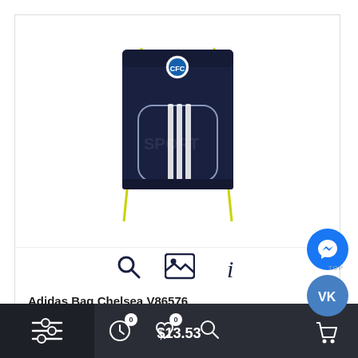[Figure (photo): Adidas Chelsea drawstring gym bag, dark navy blue with yellow/lime green drawstrings, three white stripes on front pocket, and Chelsea FC crest logo at top]
[Figure (infographic): Three icon buttons: magnifying glass (search), image/gallery icon, and info (i) icon]
Adidas Bag Chelsea V86576
$13.53